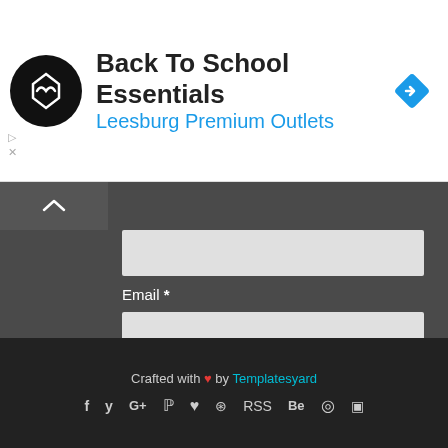[Figure (screenshot): Advertisement banner for Back To School Essentials at Leesburg Premium Outlets with circular logo and blue diamond navigation icon]
Email *
Message *
Send
Crafted with ❤ by Templatesyard